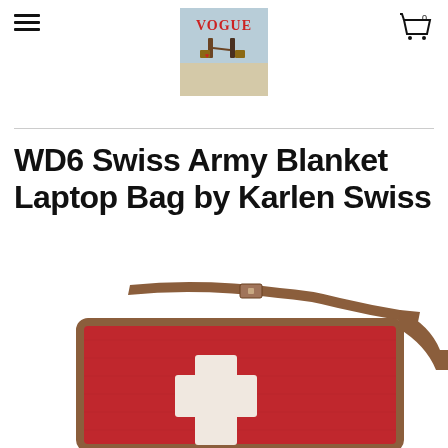Vogue – navigation header with menu icon, logo, and cart icon
WD6 Swiss Army Blanket Laptop Bag by Karlen Swiss
[Figure (photo): Red Swiss Army blanket laptop bag with a white cross emblem and brown leather strap, photographed on white background]